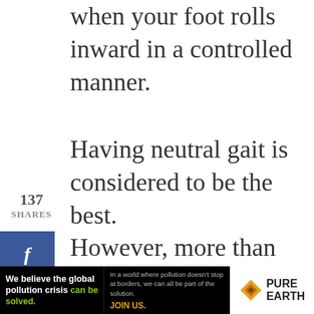when your foot rolls inward in a controlled manner.
Having neutral gait is considered to be the best.
137 SHARES
However, more than 70% of the
We use cookies on our website to give you the most relevant experience by remembering your preferences and repeat visits. By clicking “Accept”, you consent to the use of ALL the cookies. Do not sell my personal information.
[Figure (screenshot): Advertisement banner for Pure Earth organization. Left section on black background: 'We believe the global pollution crisis can be solved.' in white and green text. Middle section: 'In a world where pollution doesn’t stop at borders, we can all be part of the solution. JOIN US.' Right section on white background: Pure Earth logo with orange diamond/triangle icon and 'PURE EARTH' text.]